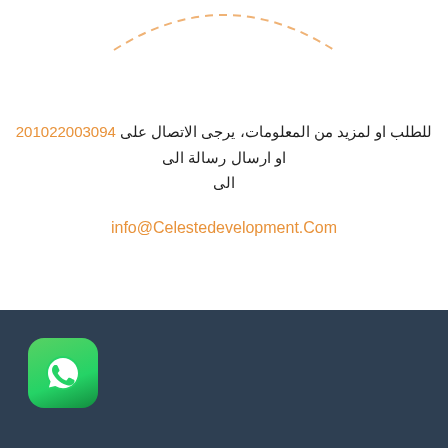[Figure (illustration): Dashed oval/arc shape at the top of the page, orange dashed border forming a partial circle]
للطلب او لمزيد من المعلومات، يرجى الاتصال على 201022003094 او ارسال رسالة الى
info@Celestedevelopment.Com
[Figure (logo): WhatsApp app icon - green rounded square with white phone handset in speech bubble]